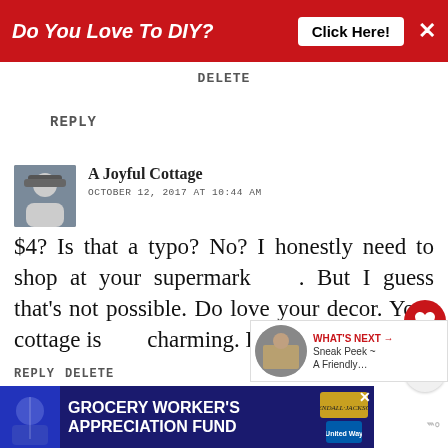[Figure (screenshot): Red ad banner at top: 'Do You Love To DIY? Click Here!' with X close button]
DELETE
REPLY
[Figure (photo): Avatar photo of commenter A Joyful Cottage]
A Joyful Cottage
OCTOBER 12, 2017 AT 10:44 AM
$4? Is that a typo? No? I honestly need to shop at your supermarket. But I guess that's not possible. Do love your decor. Your cottage is charming. Hugs.
REPLY DELETE
[Figure (screenshot): What's Next panel: Sneak Peek ~ A Friendly...]
[Figure (screenshot): Bottom ad: Grocery Worker's Appreciation Fund, Kendall Jackson, United Way]